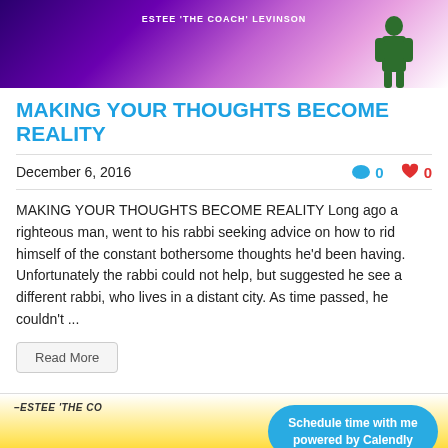[Figure (photo): Banner image with purple/galaxy background, text 'ESTEE THE COACH LEVINSON' and a green silhouette of a person on the right]
MAKING YOUR THOUGHTS BECOME REALITY
December 6, 2016
0  0
MAKING YOUR THOUGHTS BECOME REALITY Long ago a righteous man, went to his rabbi seeking advice on how to rid himself of the constant bothersome thoughts he'd been having. Unfortunately the rabbi could not help, but suggested he see a different rabbi, who lives in a distant city. As time passed, he couldn't ...
Read More
[Figure (photo): Bottom banner with yellow/gold background, text '–ESTEE THE CO...' and Calendly scheduling button overlay]